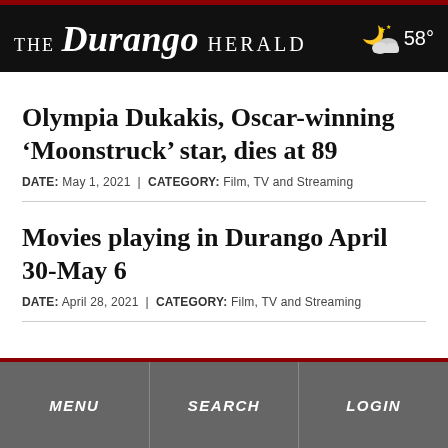THE Durango HERALD  58°
Olympia Dukakis, Oscar-winning ‘Moonstruck’ star, dies at 89
DATE: May 1, 2021 | CATEGORY: Film, TV and Streaming
Movies playing in Durango April 30-May 6
DATE: April 28, 2021 | CATEGORY: Film, TV and Streaming
MENU  SEARCH  LOGIN